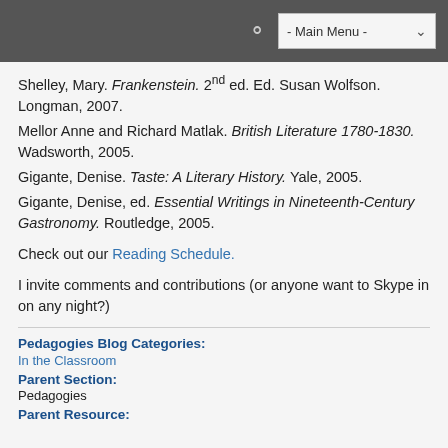- Main Menu -
Shelley, Mary. Frankenstein. 2nd ed. Ed. Susan Wolfson. Longman, 2007.
Mellor Anne and Richard Matlak. British Literature 1780-1830. Wadsworth, 2005.
Gigante, Denise. Taste: A Literary History. Yale, 2005.
Gigante, Denise, ed. Essential Writings in Nineteenth-Century Gastronomy. Routledge, 2005.
Check out our Reading Schedule.
I invite comments and contributions (or anyone want to Skype in on any night?)
Pedagogies Blog Categories:
In the Classroom
Parent Section:
Pedagogies
Parent Resource: